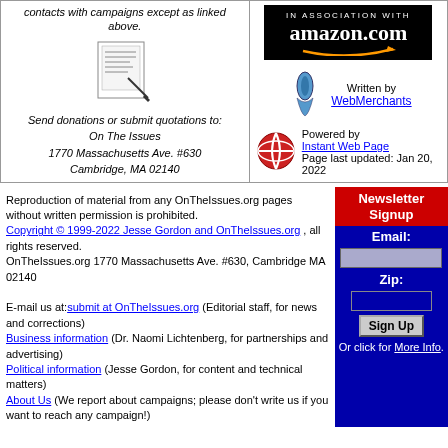contacts with campaigns except as linked above.
[Figure (illustration): Small sketch of a document with a pen]
Send donations or submit quotations to:
On The Issues
1770 Massachusetts Ave. #630
Cambridge, MA 02140
[Figure (logo): Amazon.com 'In Association With' badge in black with orange swoosh]
Written by WebMerchants
[Figure (logo): OTI (On The Issues) logo - blue torch icon]
[Figure (logo): Instant Web Page red globe logo]
Powered by Instant Web Page
Page last updated: Jan 20, 2022
Reproduction of material from any OnTheIssues.org pages without written permission is prohibited.
Copyright © 1999-2022 Jesse Gordon and OnTheIssues.org , all rights reserved.
OnTheIssues.org 1770 Massachusetts Ave. #630, Cambridge MA 02140

E-mail us at:submit at OnTheIssues.org (Editorial staff, for news and corrections)
Business information (Dr. Naomi Lichtenberg, for partnerships and advertising)
Political information (Jesse Gordon, for content and technical matters)
About Us (We report about campaigns; please don't write us if you want to reach any campaign!)
Newsletter Signup
Email:
Zip:
Sign Up
Or click for More Info.